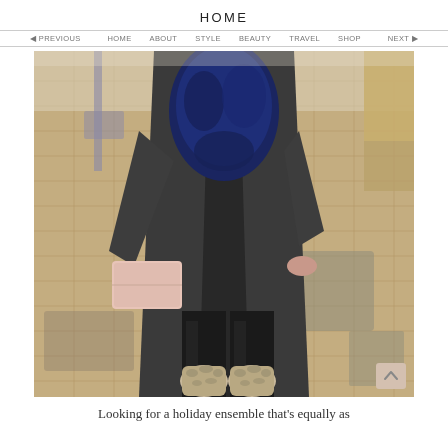HOME
[Figure (photo): A woman standing on a brick sidewalk wearing black leather leggings, a dark charcoal long cardigan coat, a navy blue fur vest, holding a light pink clutch purse, and wearing snakeskin ankle boots. The photo is cropped at the torso/neck level, showing no face.]
Looking for a holiday ensemble that's equally as